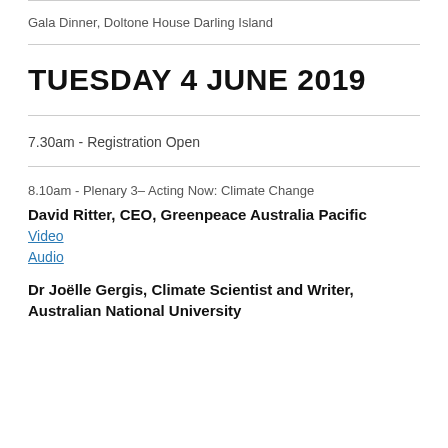Gala Dinner, Doltone House Darling Island
TUESDAY 4 JUNE 2019
7.30am - Registration Open
8.10am - Plenary 3– Acting Now: Climate Change
David Ritter, CEO, Greenpeace Australia Pacific
Video
Audio
Dr Joëlle Gergis, Climate Scientist and Writer, Australian National University